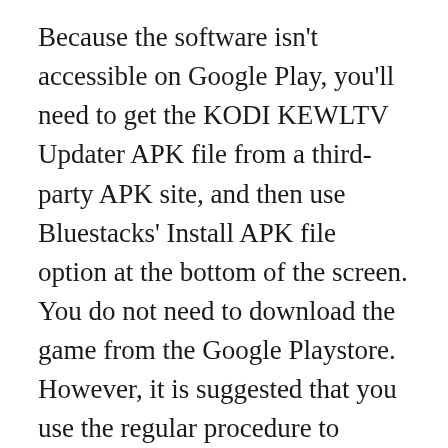Because the software isn't accessible on Google Play, you'll need to get the KODI KEWLTV Updater APK file from a third-party APK site, and then use Bluestacks' Install APK file option at the bottom of the screen. You do not need to download the game from the Google Playstore. However, it is suggested that you use the regular procedure to install any Android apps.
Bluestacks' newest version comes with a slew of impressive features. The Samsung Galaxy J7 smartphone is practically 6X quicker than Bluestacks4. The best approach to install